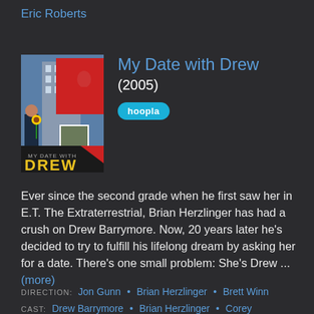Eric Roberts
[Figure (photo): Movie poster for 'My Date with Drew' (2005) showing a man holding a sunflower looking up at a woman in red dress against a building backdrop]
My Date with Drew (2005)
hoopla
Ever since the second grade when he first saw her in E.T. The Extraterrestrial, Brian Herzlinger has had a crush on Drew Barrymore. Now, 20 years later he's decided to try to fulfill his lifelong dream by asking her for a date. There's one small problem: She's Drew ... (more)
DIRECTION: Jon Gunn • Brian Herzlinger • Brett Winn
CAST: Drew Barrymore • Brian Herzlinger • Corey